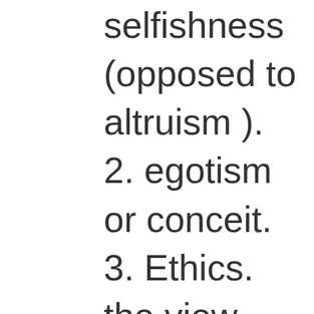selfishness (opposed to altruism ). 2. egotism or conceit. 3. Ethics. the view that